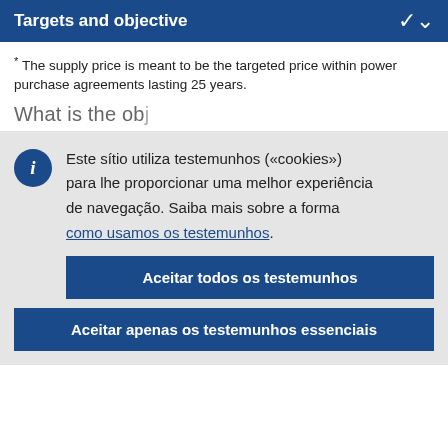Targets and objective
* The supply price is meant to be the targeted price within power purchase agreements lasting 25 years.
What is the...
Este sítio utiliza testemunhos («cookies») para lhe proporcionar uma melhor experiência de navegação. Saiba mais sobre a forma como usamos os testemunhos.
Aceitar todos os testemunhos
Aceitar apenas os testemunhos essenciais